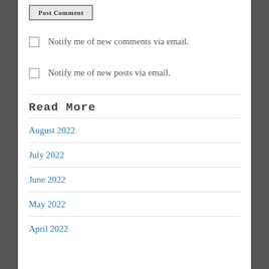[Figure (other): Post Comment button (partially visible at top)]
Notify me of new comments via email.
Notify me of new posts via email.
Read More
August 2022
July 2022
June 2022
May 2022
April 2022